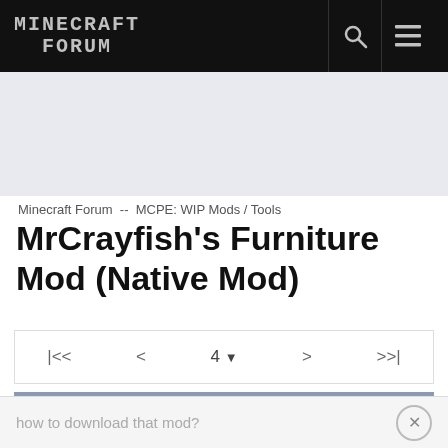MINECRAFT FORUM
[Figure (screenshot): Ad space / banner area]
Minecraft Forum  --  MCPE: WIP Mods / Tools
MrCrayfish's Furniture Mod (Native Mod)
|<<   <   4   >   >>|
B4TUR3AL   Nov 16, 2014   #90
Member Details
how to download that mod?